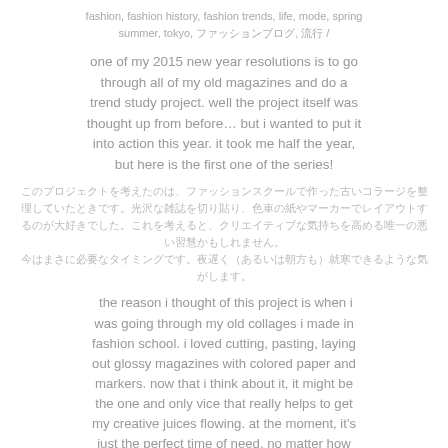fashion, fashion history, fashion trends, life, mode, spring summer, tokyo, ファッションブログ, 流行 /
one of my 2015 new year resolutions is to go through all of my old magazines and do a trend study project. well the project itself was thought up from before… but i wanted to put it into action this year. it took me half the year, but here is the first one of the series!
（Japanese text block — 2015年の新年の抱負のひとつは、古い雑誌をすべて見直してトレンド研究プロジェクトを行うことです。プロジェクト自体は以前から考えていましたが…）
the reason i thought of this project is when i was going through my old collages i made in fashion school. i loved cutting, pasting, laying out glossy magazines with colored paper and markers. now that i think about it, it might be the one and only vice that really helps to get my creative juices flowing. at the moment, it's just the perfect time of need. no matter how late at night (or morning..) i feel like i can go on forever working on these.